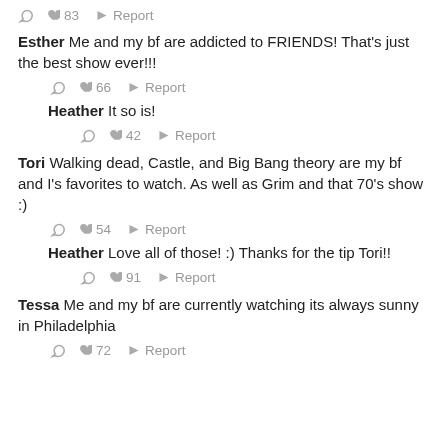↩ ♥ 83 ⚑ Report
Esther Me and my bf are addicted to FRIENDS! That's just the best show ever!!!
↩ ♥ 66 ⚑ Report
Heather It so is!
↩ ♥ 42 ⚑ Report
Tori Walking dead, Castle, and Big Bang theory are my bf and I's favorites to watch. As well as Grim and that 70's show :)
↩ ♥ 54 ⚑ Report
Heather Love all of those! :) Thanks for the tip Tori!!
↩ ♥ 91 ⚑ Report
Tessa Me and my bf are currently watching its always sunny in Philadelphia
↩ ♥ 72 ⚑ Report